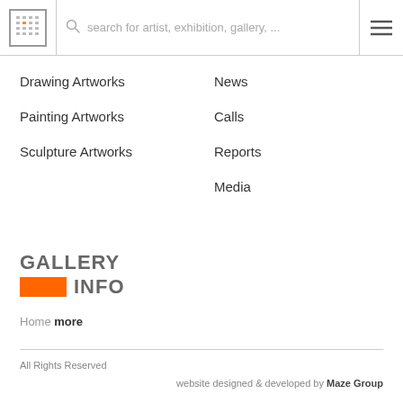[Figure (logo): Gallery Info grid/dots logo icon in a square border]
search for artist, exhibition, gallery, ...
Drawing Artworks
Painting Artworks
Sculpture Artworks
News
Calls
Reports
Media
[Figure (logo): GALLERY INFO logo with orange rectangle bar before INFO text]
Home more
All Rights Reserved
website designed & developed by Maze Group